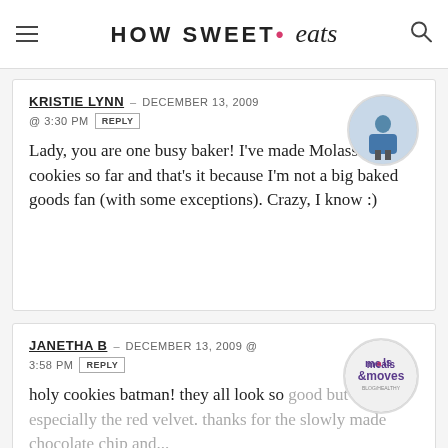HOW SWEET • eats
KRISTIE LYNN – DECEMBER 13, 2009 @ 3:30 PM REPLY
Lady, you are one busy baker! I've made Molasses cookies so far and that's it because I'm not a big baked goods fan (with some exceptions). Crazy, I know :)
JANETHA B – DECEMBER 13, 2009 @ 3:58 PM REPLY
holy cookies batman! they all look so good but especially the red velvet. thanks for the...